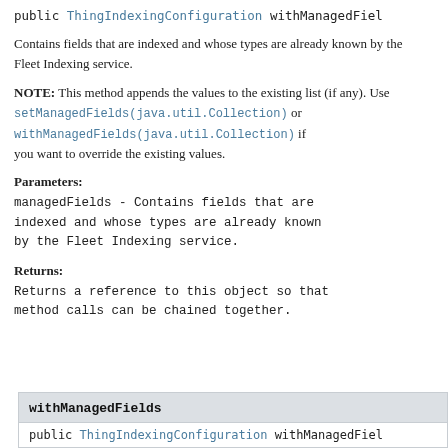public ThingIndexingConfiguration withManagedFiel…
Contains fields that are indexed and whose types are already known by the Fleet Indexing service.
NOTE: This method appends the values to the existing list (if any). Use setManagedFields(java.util.Collection) or withManagedFields(java.util.Collection) if you want to override the existing values.
Parameters:
managedFields - Contains fields that are indexed and whose types are already known by the Fleet Indexing service.
Returns:
Returns a reference to this object so that method calls can be chained together.
withManagedFields
public ThingIndexingConfiguration withManagedFiel…